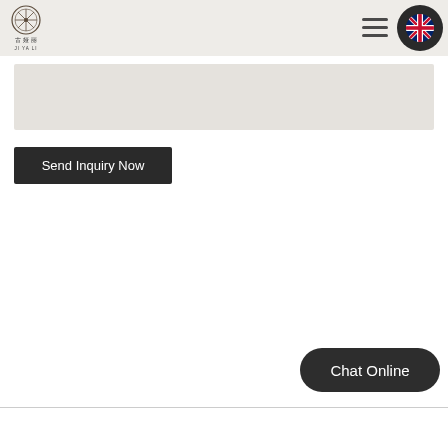JI YA LI
[Figure (logo): Ji Ya Li brand logo with circular emblem and Chinese characters 古娅丽 above text JI YA LI]
[Figure (illustration): Hamburger menu icon (three horizontal lines)]
[Figure (illustration): UK flag icon in dark rounded square button]
[Figure (other): Gray content placeholder box]
Send Inquiry Now
Chat Online